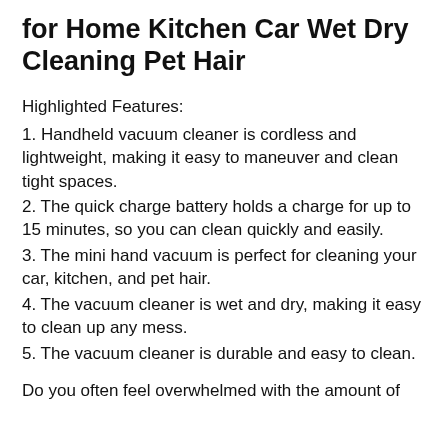for Home Kitchen Car Wet Dry Cleaning Pet Hair
Highlighted Features:
1. Handheld vacuum cleaner is cordless and lightweight, making it easy to maneuver and clean tight spaces.
2. The quick charge battery holds a charge for up to 15 minutes, so you can clean quickly and easily.
3. The mini hand vacuum is perfect for cleaning your car, kitchen, and pet hair.
4. The vacuum cleaner is wet and dry, making it easy to clean up any mess.
5. The vacuum cleaner is durable and easy to clean.
Do you often feel overwhelmed with the amount of